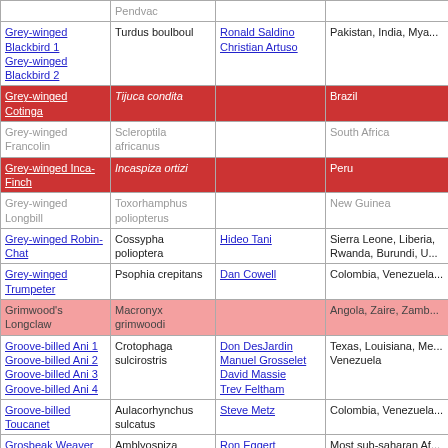| Common Name | Scientific Name | Photographer | Location |
| --- | --- | --- | --- |
|  | Pendvac |  |  |
| Grey-winged Blackbird 1
Grey-winged Blackbird 2 | Turdus boulboul | Ronald Saldino
Christian Artuso | Pakistan, India, Mya... |
| Grey-winged Cotinga | Tijuca condita |  | Brazil |
| Grey-winged Francolin | Scleroptila africanus |  | South Africa |
| Grey-winged Inca-Finch | Incaspiza ortizi |  | Peru |
| Grey-winged Longbill | Toxorhamphus poliopterus |  | New Guinea |
| Grey-winged Robin-Chat | Cossypha polioptera | Hideo Tani | Sierra Leone, Liberia, Rwanda, Burundi, U... |
| Grey-winged Trumpeter | Psophia crepitans | Dan Cowell | Colombia, Venezuela... |
| Grimwood's Longclaw | Macronyx grimwoodi |  | Angola, Zaire, Zamb... |
| Groove-billed Ani 1
Groove-billed Ani 2
Groove-billed Ani 3
Groove-billed Ani 4 | Crotophaga sulcirostris | Don DesJardin
Manuel Grosselet
David Massie
Trev Feltham | Texas, Louisiana, Me...
Venezuela |
| Groove-billed Toucanet | Aulacorhynchus sulcatus | Steve Metz | Colombia, Venezuela... |
| Grosbeak Weaver | Amblyospiza albifrons | Ron Eggert | Most sub-saharan Af... |
| Ground Cuckooshrike | Coracina maxima | Hideo Tani | Australia |
| Ground Parrot | Pezoporus wallicus | Chris Chafer | Australia |
| Ground Woodpecker | Geocolaptes olivaceus |  | South Africa |
| Groundscraper Thrush | Psophocichla litsipsirupa | Bruce Marcot | Ethiopia, Eritrea, Ang...
Namibia, Botswana,... |
| Guadalcanal Honeyeater | Guadalcanaria inexpectata |  | Solomon Islands |
| Guadalcanal Thicketbird | Megalurulus whitneyi |  | Solomon Islands, Va... |